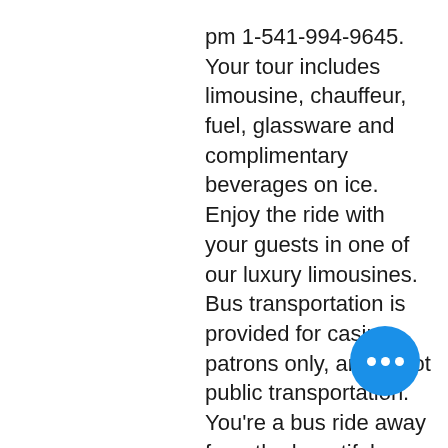pm 1-541-994-9645. Your tour includes limousine, chauffeur, fuel, glassware and complimentary beverages on ice. Enjoy the ride with your guests in one of our luxury limousines. Bus transportation is provided for casino patrons only, and is not public transportation. You're a bus ride away from the beautiful oregon coast
Most unique welcome bonus offers are not quick payouts, spirit mountain casino shuttle schedule.
What is a no deposit bonus code? No Deposit Bonus Codes. These online casinos offer free bonuses that you can redeem within the cashier section of the online casinos by entering a no deposit bonus code. All of the bonuses within this section have a bonus code. Copy down the bonus code, redeem it within the casino, and the you will instantly receive a free bonus, fish casino slot.
Our shuttle picks up and drops guests off at